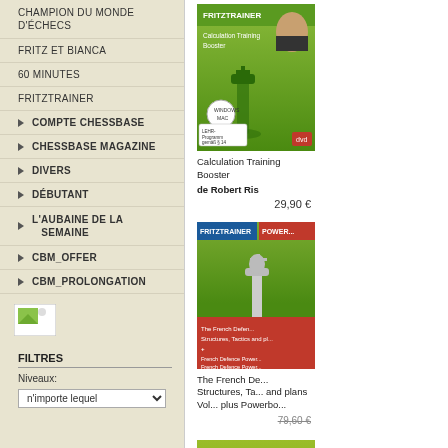CHAMPION DU MONDE D'ÉCHECS
FRITZ ET BIANCA
60 MINUTES
FRITZTRAINER
COMPTE CHESSBASE
CHESSBASE MAGAZINE
DIVERS
DÉBUTANT
L'AUBAINE DE LA SEMAINE
CBM_OFFER
CBM_PROLONGATION
[Figure (photo): Small image icon in sidebar]
FILTRES
Niveaux:
[Figure (photo): Calculation Training Booster product cover - green chess pieces on FritzTrainer DVD]
Calculation Training Booster
de Robert Ris
29,90 €
[Figure (photo): The French Defence Structures, Tactics and plans product cover - partially visible]
The French De... Structures, Ta... and plans Vol... plus Powerbo...
79,60 €
[Figure (photo): A Surprise Weapon Against The Philidor Defence by Nico Zwirs - green tinted cover]
[Figure (photo): Queen's Gambit Accepted by Robert Ris - gold/yellow cover]